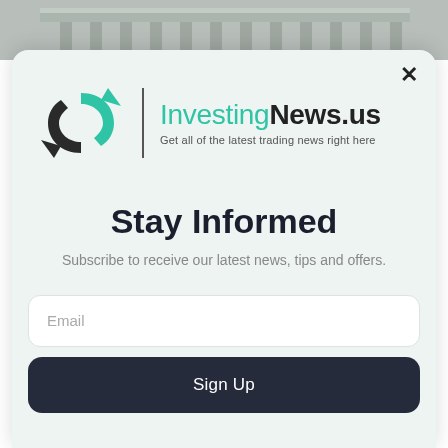[Figure (photo): Background photo of a building with columns (likely a stock exchange or financial institution), cropped at top]
[Figure (logo): InvestingNews.us logo with two circular arrows icon in teal and dark gray, vertical divider, and text 'InvestingNews.us' with tagline 'Get all of the latest trading news right here']
Stay Informed
Subscribe to receive our latest news, tips and offers.
Email
Sign Up